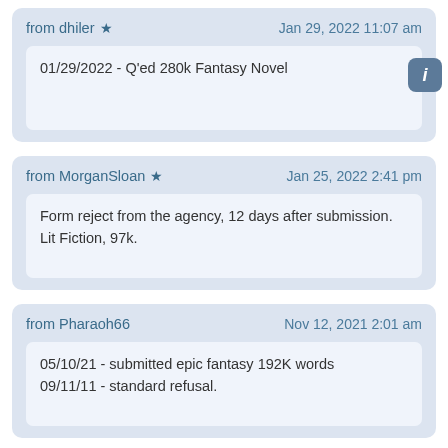from dhiler ★   Jan 29, 2022 11:07 am
01/29/2022 - Q'ed 280k Fantasy Novel
from MorganSloan ★   Jan 25, 2022 2:41 pm
Form reject from the agency, 12 days after submission. Lit Fiction, 97k.
from Pharaoh66   Nov 12, 2021 2:01 am
05/10/21 - submitted epic fantasy 192K words
09/11/11 - standard refusal.